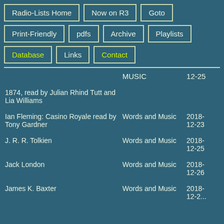Radio-Lists Home
Now on R3
Goto
Print-Friendly
pdfs
Archive
Playlists
Database
Links
Contact
|  | MUSIC | 12-25 |
| --- | --- | --- |
| 1874, read by Julian Rhind Tutt and Lia Williams |  |  |
| Ian Fleming: Casino Royale read by Tony Gardner | Words and Music | 2018-12-23 |
| J. R. R. Tolkien | Words and Music | 2018-12-25 |
| Jack London | Words and Music | 2018-12-26 |
| James K. Baxter | Words and Music | 2018-12-2... |